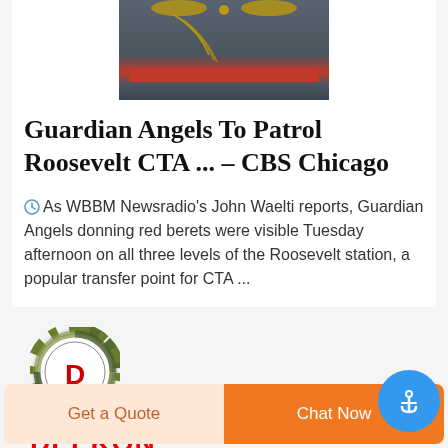[Figure (photo): Partial view of a person wearing a dark military uniform with gold epaulettes, gold chain decorations, and a red sash/belt]
Guardian Angels To Patrol Roosevelt CTA ... – CBS Chicago
As WBBM Newsradio's John Waelti reports, Guardian Angels donning red berets were visible Tuesday afternoon on all three levels of the Roosevelt station, a popular transfer point for CTA ...
[Figure (logo): DEEKON logo: circular green camouflage pattern with red D in center, and DEEKON text in bold red below]
Get a Quote
Chat Now